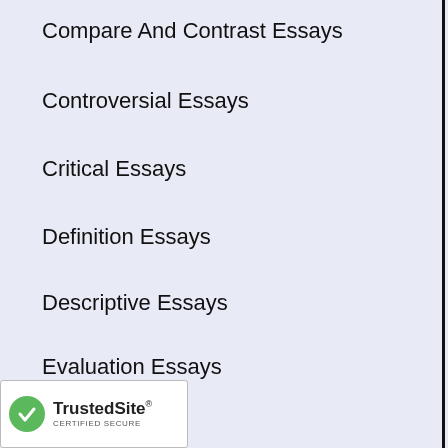Compare And Contrast Essays
Controversial Essays
Critical Essays
Definition Essays
Descriptive Essays
Evaluation Essays
Exemplification Essays
Exploratory Essays
Expository Essays
ive Essays
[Figure (logo): TrustedSite CERTIFIED SECURE badge]